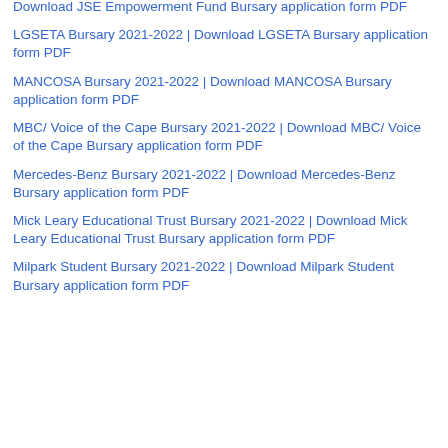JSE Empowerment Fund Bursary 2021-2022 | Download JSE Empowerment Fund Bursary application form PDF
LGSETA Bursary 2021-2022 | Download LGSETA Bursary application form PDF
MANCOSA Bursary 2021-2022 | Download MANCOSA Bursary application form PDF
MBC/ Voice of the Cape Bursary 2021-2022 | Download MBC/ Voice of the Cape Bursary application form PDF
Mercedes-Benz Bursary 2021-2022 | Download Mercedes-Benz Bursary application form PDF
Mick Leary Educational Trust Bursary 2021-2022 | Download Mick Leary Educational Trust Bursary application form PDF
Milpark Student Bursary 2021-2022 | Download Milpark Student Bursary application form PDF